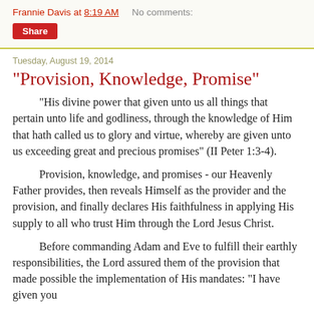Frannie Davis at 8:19 AM    No comments:
Share
Tuesday, August 19, 2014
"Provision, Knowledge, Promise"
"His divine power that given unto us all things that pertain unto life and godliness, through the knowledge of Him that hath called us to glory and virtue, whereby are given unto us exceeding great and precious promises" (II Peter 1:3-4).
Provision, knowledge, and promises - our Heavenly Father provides, then reveals Himself as the provider and the provision, and finally declares His faithfulness in applying His supply to all who trust Him through the Lord Jesus Christ.
Before commanding Adam and Eve to fulfill their earthly responsibilities, the Lord assured them of the provision that made possible the implementation of His mandates: "I have given you